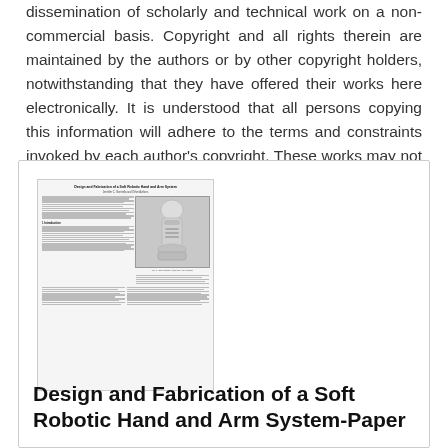dissemination of scholarly and technical work on a non-commercial basis. Copyright and all rights therein are maintained by the authors or by other copyright holders, notwithstanding that they have offered their works here electronically. It is understood that all persons copying this information will adhere to the terms and constraints invoked by each author's copyright. These works may not be reposted without the explicit permission of the copyright holder.
[Figure (screenshot): Thumbnail image of the paper 'Design and Fabrication of a Soft Robotic Hand and Arm System' showing a two-column academic paper layout with a photo of a soft robotic hand/arm on the right column.]
Design and Fabrication of a Soft Robotic Hand and Arm System-Paper